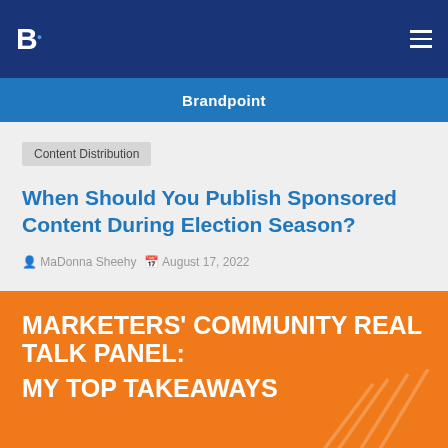B. Brandpoint
Brandpoint
Content Distribution
When Should You Publish Sponsored Content During Election Season?
MaDonna Sheehy  August 17, 2022
MARKETERS' COMMUNITY REAL TALK PANEL: MY TOP TAKEAWAYS